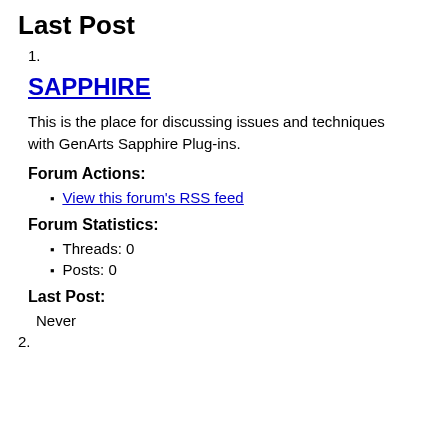Last Post
1.
SAPPHIRE
This is the place for discussing issues and techniques with GenArts Sapphire Plug-ins.
Forum Actions:
View this forum's RSS feed
Forum Statistics:
Threads: 0
Posts: 0
Last Post:
Never
2.